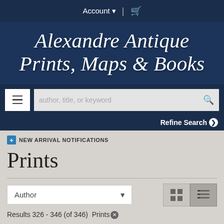Account ▼  |  🛒
Alexandre Antique Prints, Maps & Books
author, title, or keyword [search bar]
Refine Search ❯
NEW ARRIVAL NOTIFICATIONS
Prints
Author ∨  [grid view] [list view]
Results 326 - 346 (of 346)  Prints ✕